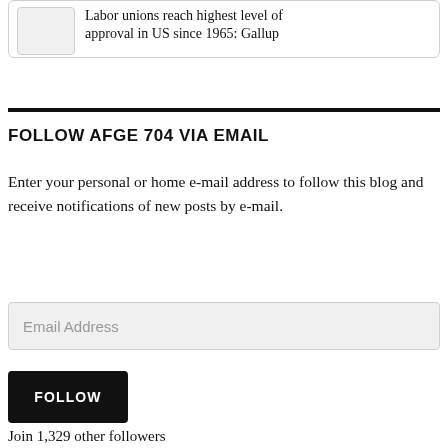Labor unions reach highest level of approval in US since 1965: Gallup
FOLLOW AFGE 704 VIA EMAIL
Enter your personal or home e-mail address to follow this blog and receive notifications of new posts by e-mail.
Email Address
FOLLOW
Join 1,329 other followers